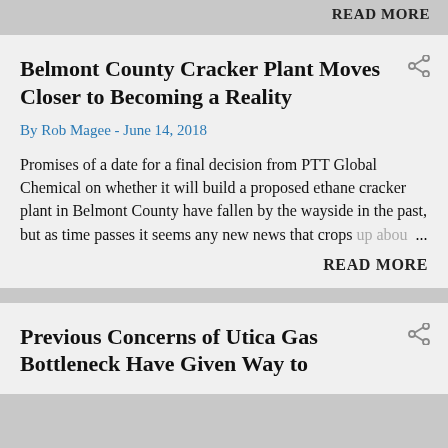READ MORE
Belmont County Cracker Plant Moves Closer to Becoming a Reality
By Rob Magee - June 14, 2018
Promises of a date for a final decision from PTT Global Chemical on whether it will build a proposed ethane cracker plant in Belmont County have fallen by the wayside in the past, but as time passes it seems any new news that crops up abou ...
READ MORE
Previous Concerns of Utica Gas Bottleneck Have Given Way to